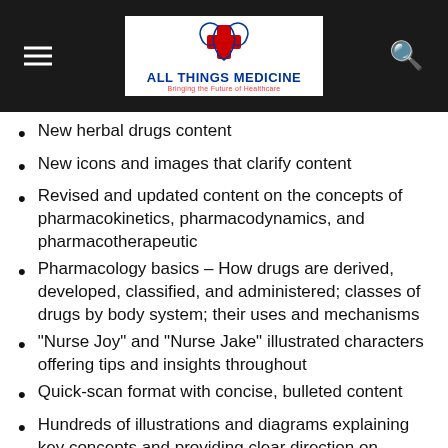ALL THINGS MEDICINE – Bringing the Future of Healthcare
New herbal drugs content
New icons and images that clarify content
Revised and updated content on the concepts of pharmacokinetics, pharmacodynamics, and pharmacotherapeutic
Pharmacology basics – How drugs are derived, developed, classified, and administered; classes of drugs by body system; their uses and mechanisms
“Nurse Joy” and “Nurse Jake” illustrated characters offering tips and insights throughout
Quick-scan format with concise, bulleted content
Hundreds of illustrations and diagrams explaining key concepts and providing clear direction on administering drugs; drug distribution, absorption, and metabolism; potential drug interactions; adverse reactions; how different